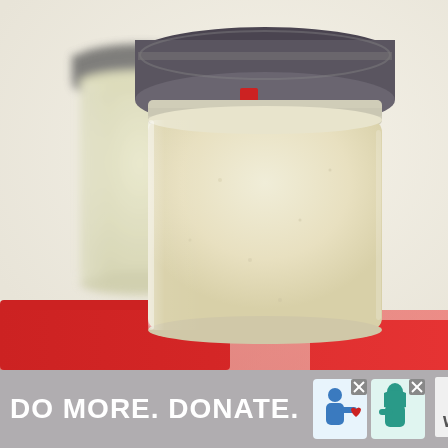[Figure (photo): Close-up photo of mason jars filled with a creamy pale yellow smoothie or drink, with metal screw-top lids. A second jar is blurred in the background to the left. A red surface or object is visible at the bottom.]
[Figure (infographic): Advertisement banner with gray background. Bold white text reads 'DO MORE. DONATE.' followed by two small illustrated images of people (one in blue, one in teal/hijab with a heart symbol between them), each with an X close button. A third X close button appears at the far right with a 'w' logo below it.]